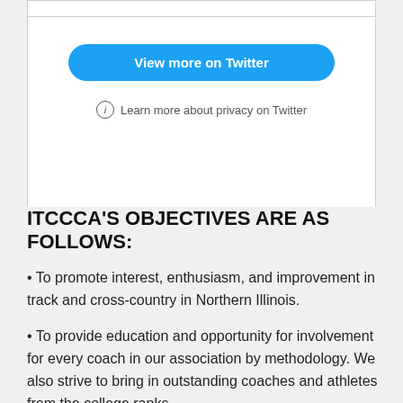[Figure (screenshot): Twitter embed widget showing 'View more on Twitter' button and privacy link]
ITCCCA'S OBJECTIVES ARE AS FOLLOWS:
• To promote interest, enthusiasm, and improvement in track and cross-country in Northern Illinois.
• To provide education and opportunity for involvement for every coach in our association by methodology. We also strive to bring in outstanding coaches and athletes from the college ranks.